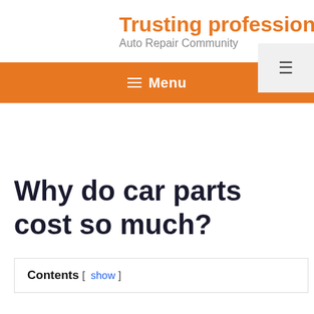Trusting professionals
Auto Repair Community
Why do car parts cost so much?
Contents [ show ]